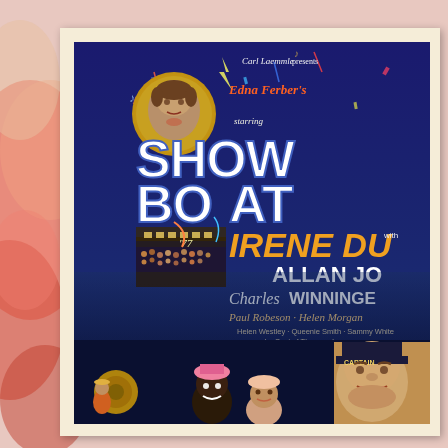[Figure (photo): Vintage movie poster for 'Show Boat' (1936). Carl Laemmle Presents Edna Ferber's Show Boat, starring Irene Dunne with Allan Jones, Charles Winninger, Paul Robeson, Helen Morgan, Helen Westley, Queenie Smith, Sammy White and a Cast of Thousands. Directed by James Whale, a Carl Laemmle Jr. Production. Dark blue background with large white and yellow text. Features a circular portrait of a performer at top left, large crowd scenes on a showboat, and character portraits at bottom including a man in a captain's hat.]